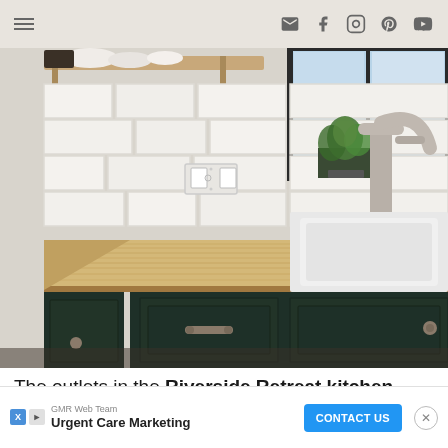Navigation bar with hamburger menu and social icons (email, facebook, instagram, pinterest, youtube)
[Figure (photo): Kitchen photo showing white subway tile backsplash, butcher block countertop, dark green lower cabinets, a white undermount sink with brushed nickel faucet, a potted green plant on the windowsill, and a wood open shelf with bowls above. A horizontal electrical outlet is visible on the backsplash.]
The outlets in the Riverside Retreat kitchen were mounted horizontally against the subway tile
GMR Web Team Urgent Care Marketing CONTACT US